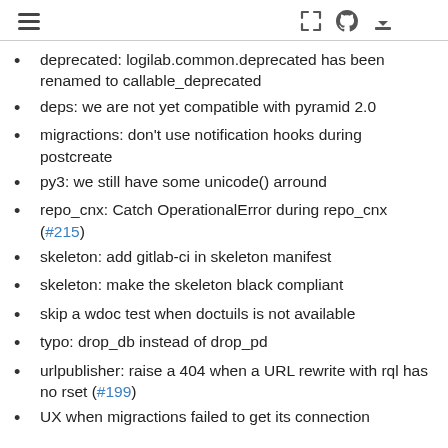Navigation header with hamburger menu and icons
deprecated: logilab.common.deprecated has been renamed to callable_deprecated
deps: we are not yet compatible with pyramid 2.0
migractions: don't use notification hooks during postcreate
py3: we still have some unicode() arround
repo_cnx: Catch OperationalError during repo_cnx (#215)
skeleton: add gitlab-ci in skeleton manifest
skeleton: make the skeleton black compliant
skip a wdoc test when doctuils is not available
typo: drop_db instead of drop_pd
urlpublisher: raise a 404 when a URL rewrite with rql has no rset (#199)
UX when migractions failed to get its connection